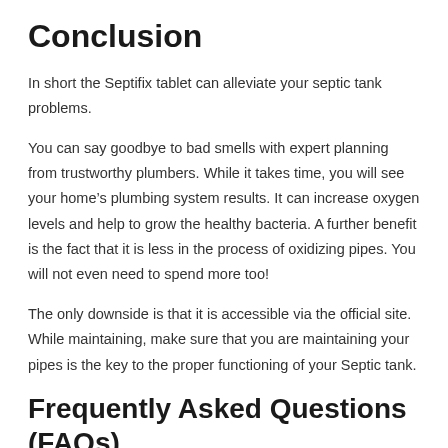Conclusion
In short the Septifix tablet can alleviate your septic tank problems.
You can say goodbye to bad smells with expert planning from trustworthy plumbers. While it takes time, you will see your home’s plumbing system results. It can increase oxygen levels and help to grow the healthy bacteria. A further benefit is the fact that it is less in the process of oxidizing pipes. You will not even need to spend more too!
The only downside is that it is accessible via the official site. While maintaining, make sure that you are maintaining your pipes is the key to the proper functioning of your Septic tank.
Frequently Asked Questions (FAQs)